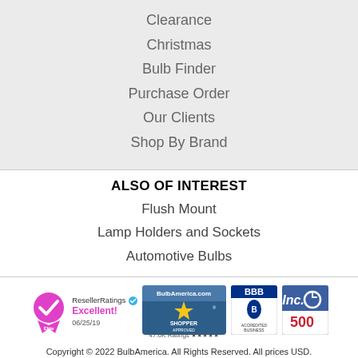Clearance
Christmas
Bulb Finder
Purchase Order
Our Clients
Shop By Brand
ALSO OF INTEREST
Flush Mount
Lamp Holders and Sockets
Automotive Bulbs
[Figure (logo): ResellerRatings Elite badge with pink ribbon, checkmark, Excellent! rating 06/25/19]
[Figure (logo): BulbAmerica.com Shopper Approved badge with star and 47.0K Ratings five stars]
[Figure (logo): BBB Accredited Business badge]
[Figure (logo): Inc. 500 badge]
Copyright © 2022 BulbAmerica. All Rights Reserved. All prices USD.